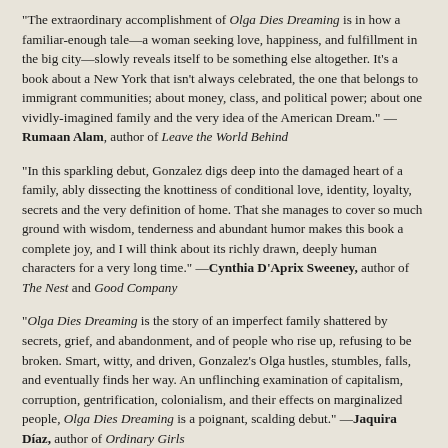"The extraordinary accomplishment of Olga Dies Dreaming is in how a familiar-enough tale—a woman seeking love, happiness, and fulfillment in the big city—slowly reveals itself to be something else altogether. It's a book about a New York that isn't always celebrated, the one that belongs to immigrant communities; about money, class, and political power; about one vividly-imagined family and the very idea of the American Dream." — Rumaan Alam, author of Leave the World Behind
"In this sparkling debut, Gonzalez digs deep into the damaged heart of a family, ably dissecting the knottiness of conditional love, identity, loyalty, secrets and the very definition of home. That she manages to cover so much ground with wisdom, tenderness and abundant humor makes this book a complete joy, and I will think about its richly drawn, deeply human characters for a very long time." —Cynthia D'Aprix Sweeney, author of The Nest and Good Company
"Olga Dies Dreaming is the story of an imperfect family shattered by secrets, grief, and abandonment, and of people who rise up, refusing to be broken. Smart, witty, and driven, Gonzalez's Olga hustles, stumbles, falls, and eventually finds her way. An unflinching examination of capitalism, corruption, gentrification, colonialism, and their effects on marginalized people, Olga Dies Dreaming is a poignant, scalding debut." —Jaquira Díaz, author of Ordinary Girls
"Olga Dies Dreaming is as funny as it is insightful, as deft as it is original.